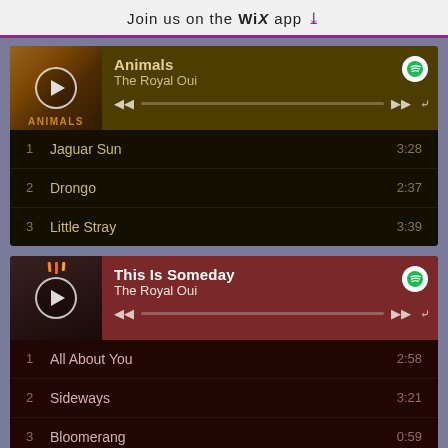Join us on the WiX app ↓
[Figure (screenshot): Music player widget for album 'Animals' by The Royal Oui showing album art, play controls, and tracklist with: 1 Jaguar Sun 3:28, 2 Drongo 2:37, 3 Little Stray 3:39]
[Figure (screenshot): Music player widget for album 'This Is Someday' by The Royal Oui showing album art with candles, play controls, and tracklist with: 1 All About You 2:58, 2 Sideways 3:21, 3 Bloomerang 0:59, 4 Usually I Would 2:55, 5 Unusually 0:17]